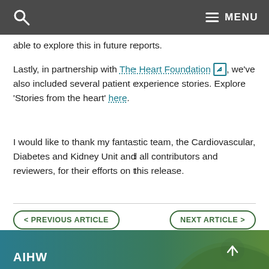MENU
able to explore this in future reports.
Lastly, in partnership with The Heart Foundation [external link], we've also included several patient experience stories. Explore 'Stories from the heart' here.
I would like to thank my fantastic team, the Cardiovascular, Diabetes and Kidney Unit and all contributors and reviewers, for their efforts on this release.
< PREVIOUS ARTICLE
NEXT ARTICLE >
Last updated 22/12/2021 v4.0
AIHW